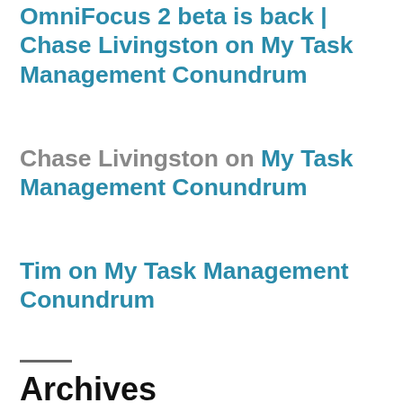OmniFocus 2 beta is back | Chase Livingston on My Task Management Conundrum
Chase Livingston on My Task Management Conundrum
Tim on My Task Management Conundrum
Archives
February 2021
January 2021